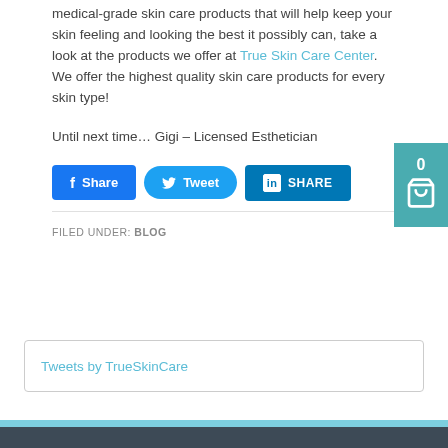medical-grade skin care products that will help keep your skin feeling and looking the best it possibly can, take a look at the products we offer at True Skin Care Center. We offer the highest quality skin care products for every skin type!
Until next time… Gigi – Licensed Esthetician
[Figure (screenshot): Social share buttons: Facebook Share, Tweet, LinkedIn SHARE]
FILED UNDER: BLOG
Tweets by TrueSkinCare
[Figure (screenshot): Shopping cart widget showing 0 items, teal background]